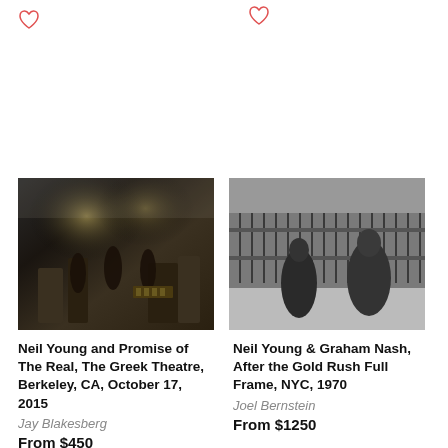[Figure (photo): Concert photo of Neil Young and Promise of The Real performing on stage at The Greek Theatre, Berkeley CA, color photograph with stage lighting]
[Figure (photo): Black and white photograph of Neil Young and Graham Nash walking on a New York City street, 1970]
Neil Young and Promise of The Real, The Greek Theatre, Berkeley, CA, October 17, 2015
Jay Blakesberg
From $450
Neil Young & Graham Nash, After the Gold Rush Full Frame, NYC, 1970
Joel Bernstein
From $1250